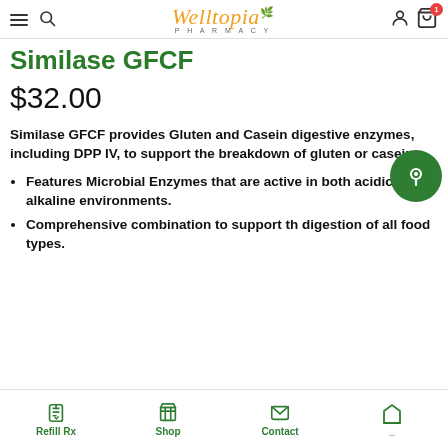Welltopia Pharmacy – navigation header with hamburger, search, logo, user, and cart icons
Similase GFCF
$32.00
Similase GFCF provides Gluten and Casein digestive enzymes, including DPP IV, to support the breakdown of gluten or casein.
Features Microbial Enzymes that are active in both acidic and alkaline environments.
Comprehensive combination to support th digestion of all food types.
Refill Rx   Shop   Contact